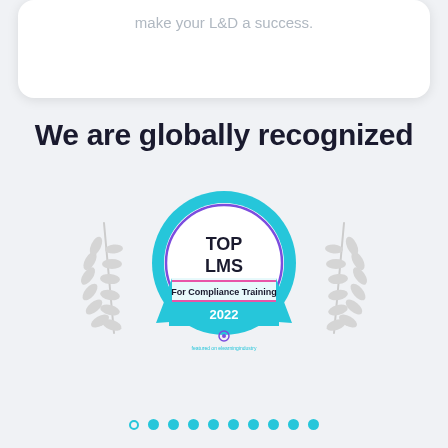make your L&D a success.
We are globally recognized
[Figure (illustration): Award badge: TOP LMS For Compliance Training 2022, featured on elearningindustry, flanked by decorative laurel wreaths]